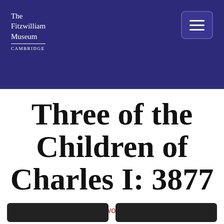The Fitzwilliam Museum CAMBRIDGE
Three of the Children of Charles I: 3877
Home › Objects and Artworks › Object
Photograph copyright © The Fitzwilliam Museum, Cambridge.